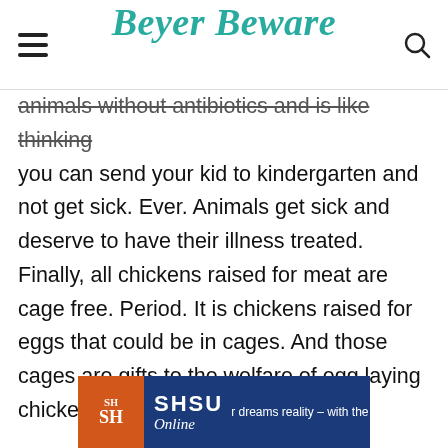Beyer Beware
animals without antibiotics and is like thinking you can send your kid to kindergarten and not get sick. Ever. Animals get sick and deserve to have their illness treated. Finally, all chickens raised for meat are cage free. Period. It is chickens raised for eggs that could be in cages. And those cages are gifts to the welfare of egg laying chickens. Trust me.
[Figure (other): SHSU Online advertisement banner showing the SHSU logo with orange badge and text 'dreams reality – with the help o']